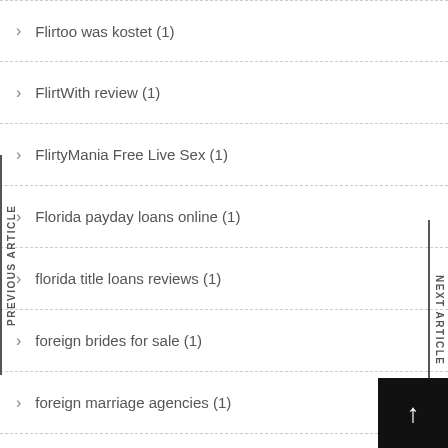Flirtoo was kostet (1)
FlirtWith review (1)
FlirtyMania Free Live Sex (1)
Florida payday loans online (1)
florida title loans reviews (1)
foreign brides for sale (1)
foreign marriage agencies (1)
foreignbrides (1)